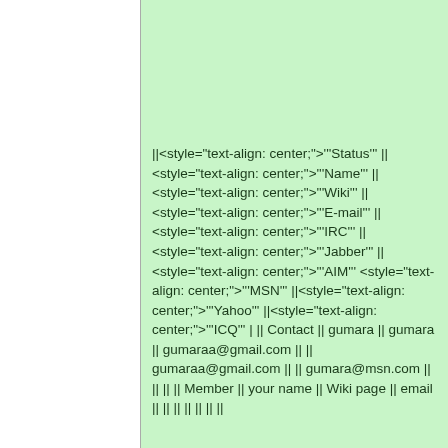||<style="text-align: center;">'''Status''' ||<style="text-align: center;">'''Name''' ||<style="text-align: center;">'''Wiki''' ||<style="text-align: center;">'''E-mail''' ||<style="text-align: center;">'''IRC''' ||<style="text-align: center;">'''Jabber''' ||<style="text-align: center;">'''AIM''' <style="text-align: center;">'''MSN''' ||<style="text-align: center;">'''Yahoo''' ||<style="text-align: center;">'''ICQ''' | || Contact || gumara || gumara || gumaraa@gmail.com || || gumaraa@gmail.com || || gumara@msn.com || || || || Member || your name || Wiki page || email || || || || || || ||